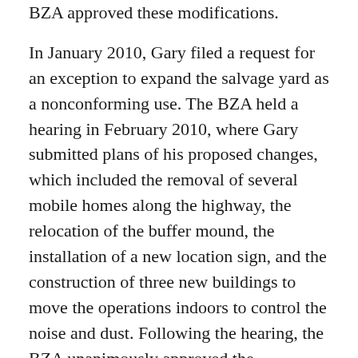BZA approved these modifications.
In January 2010, Gary filed a request for an exception to expand the salvage yard as a nonconforming use. The BZA held a hearing in February 2010, where Gary submitted plans of his proposed changes, which included the removal of several mobile homes along the highway, the relocation of the buffer mound, the installation of a new location sign, and the construction of three new buildings to move the operations indoors to control the noise and dust. Following the hearing, the BZA unanimously approved the modification of the nonconforming use. In March 2010, the Daniel Stuckmans filed a petition for Writ of Certiorari, seeking judicial review of the BZA's decision. They alleged that their businesses would be damaged by the approval of Gary's plan. Gary died during the proceedings, so his estate was substituted as a party in March 2011. The trial court held a hearing in July 2011, where the Stuckmans argued that the BZA did not apply the appropriate section of the zoning ordinance. Zoning